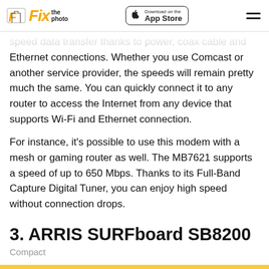Fix the photo — Download on the App Store
speed data transfer thanks to power, coax cable and Ethernet connections. Whether you use Comcast or another service provider, the speeds will remain pretty much the same. You can quickly connect it to any router to access the Internet from any device that supports Wi-Fi and Ethernet connection.
For instance, it's possible to use this modem with a mesh or gaming router as well. The MB7621 supports a speed of up to 650 Mbps. Thanks to its Full-Band Capture Digital Tuner, you can enjoy high speed without connection drops.
3. ARRIS SURFboard SB8200
Compact